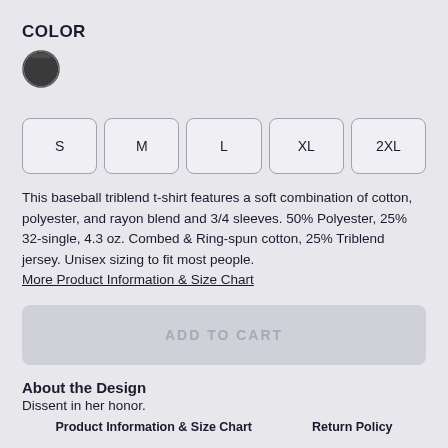COLOR
[Figure (illustration): Dark gray/black color swatch circle with a ring border, representing the selected color option for the product.]
S
M
L
XL
2XL
This baseball triblend t-shirt features a soft combination of cotton, polyester, and rayon blend and 3/4 sleeves. 50% Polyester, 25% 32-single, 4.3 oz. Combed & Ring-spun cotton, 25% Triblend jersey. Unisex sizing to fit most people. More Product Information & Size Chart
ADD TO CART
About the Design
Dissent in her honor.
Product Information & Size Chart    Return Policy